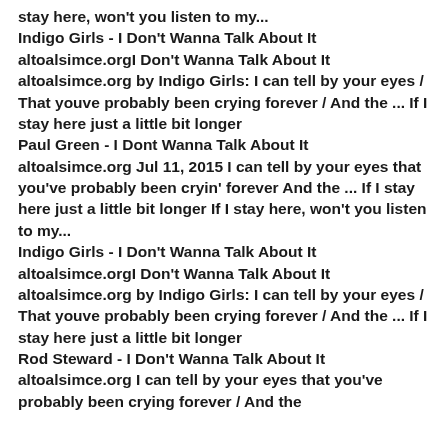stay here, won't you listen to my... Indigo Girls - I Don't Wanna Talk About It altoalsimce.orgI Don't Wanna Talk About It altoalsimce.org by Indigo Girls: I can tell by your eyes / That youve probably been crying forever / And the ... If I stay here just a little bit longer Paul Green - I Dont Wanna Talk About It altoalsimce.org Jul 11, 2015 I can tell by your eyes that you've probably been cryin' forever And the ... If I stay here just a little bit longer If I stay here, won't you listen to my... Indigo Girls - I Don't Wanna Talk About It altoalsimce.orgI Don't Wanna Talk About It altoalsimce.org by Indigo Girls: I can tell by your eyes / That youve probably been crying forever / And the ... If I stay here just a little bit longer Rod Steward - I Don't Wanna Talk About It altoalsimce.org I can tell by your eyes that you've probably been crying forever / And the